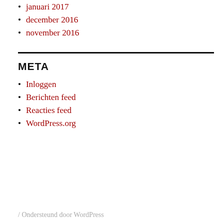januari 2017
december 2016
november 2016
META
Inloggen
Berichten feed
Reacties feed
WordPress.org
/ Ondersteund door WordPress